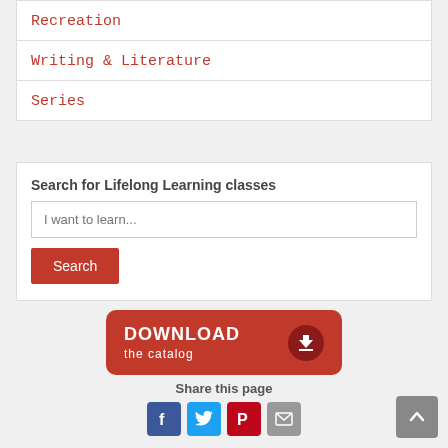Recreation
Writing & Literature
Series
Search for Lifelong Learning classes
I want to learn...
Search
[Figure (other): Download the catalog button - red rounded rectangle with download arrow icon]
Share this page
[Figure (other): Social sharing icons: Facebook, Twitter, Pinterest, Email]